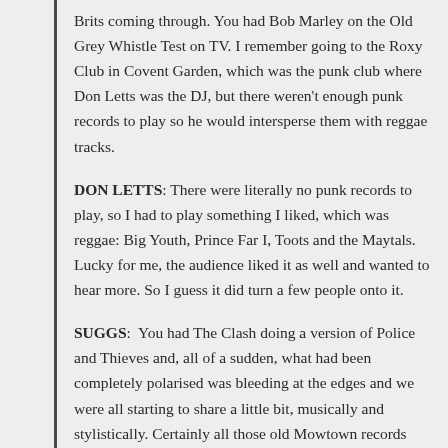Brits coming through. You had Bob Marley on the Old Grey Whistle Test on TV. I remember going to the Roxy Club in Covent Garden, which was the punk club where Don Letts was the DJ, but there weren't enough punk records to play so he would intersperse them with reggae tracks.
DON LETTS: There were literally no punk records to play, so I had to play something I liked, which was reggae: Big Youth, Prince Far I, Toots and the Maytals. Lucky for me, the audience liked it as well and wanted to hear more. So I guess it did turn a few people onto it.
SUGGS: You had The Clash doing a version of Police and Thieves and, all of a sudden, what had been completely polarised was bleeding at the edges and we were all starting to share a little bit, musically and stylistically. Certainly all those old Mowtown records had